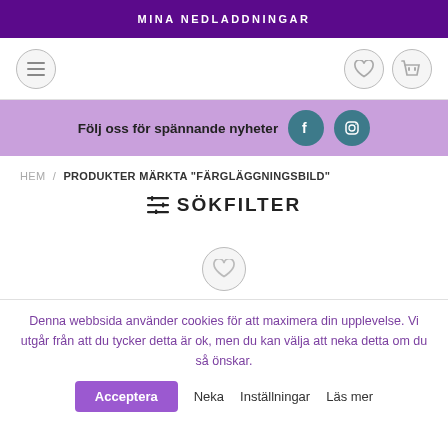MINA NEDLADDNINGAR
[Figure (screenshot): Navigation bar with hamburger menu icon on the left and heart/basket icons on the right]
Följ oss för spännande nyheter
HEM / PRODUKTER MÄRKTA "FÄRGLÄGGNINGSBILD"
≡ SÖKFILTER
[Figure (screenshot): Heart/wishlist icon circle]
Denna webbsida använder cookies för att maximera din upplevelse. Vi utgår från att du tycker detta är ok, men du kan välja att neka detta om du så önskar.
Acceptera  Neka  Inställningar  Läs mer